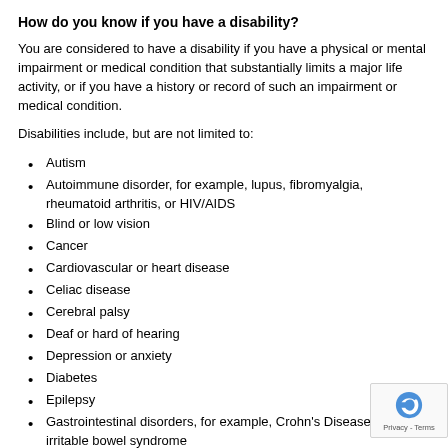How do you know if you have a disability?
You are considered to have a disability if you have a physical or mental impairment or medical condition that substantially limits a major life activity, or if you have a history or record of such an impairment or medical condition.
Disabilities include, but are not limited to:
Autism
Autoimmune disorder, for example, lupus, fibromyalgia, rheumatoid arthritis, or HIV/AIDS
Blind or low vision
Cancer
Cardiovascular or heart disease
Celiac disease
Cerebral palsy
Deaf or hard of hearing
Depression or anxiety
Diabetes
Epilepsy
Gastrointestinal disorders, for example, Crohn's Disease, or irritable bowel syndrome
Intellectual disability
Missing limbs or partially missing limbs
Nervous system condition for example, migraine